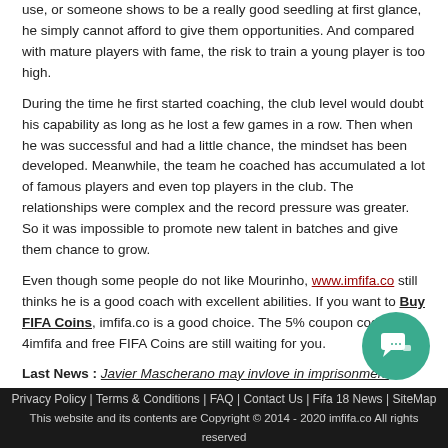use, or someone shows to be a really good seedling at first glance, he simply cannot afford to give them opportunities. And compared with mature players with fame, the risk to train a young player is too high.
During the time he first started coaching, the club level would doubt his capability as long as he lost a few games in a row. Then when he was successful and had a little chance, the mindset has been developed. Meanwhile, the team he coached has accumulated a lot of famous players and even top players in the club. The relationships were complex and the record pressure was greater. So it was impossible to promote new talent in batches and give them chance to grow.
Even though some people do not like Mourinho, www.imfifa.co still thinks he is a good coach with excellent abilities. If you want to Buy FIFA Coins, imfifa.co is a good choice. The 5% coupon code 4imfifa and free FIFA Coins are still waiting for you.
Last News : Javier Mascherano may invlove in imprisonment punishment
Next News : Do You Remember the Right Corridor of Messi
Privacy Policy | Terms & Conditions | FAQ | Contact Us | Fifa 18 News | SiteMap This website and its contents are Copyright © 2014 - 2020 imfifa.co All rights reserved